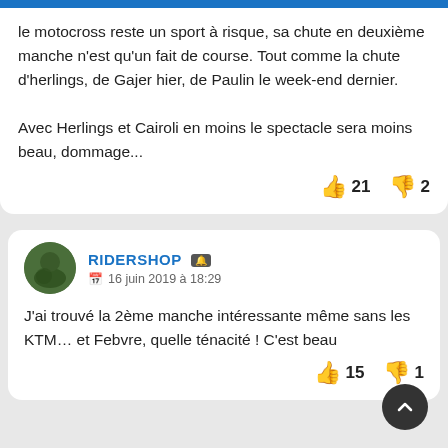le motocross reste un sport à risque, sa chute en deuxième manche n'est qu'un fait de course. Tout comme la chute d'herlings, de Gajer hier, de Paulin le week-end dernier.

Avec Herlings et Cairoli en moins le spectacle sera moins beau, dommage...
👍 21  👎 2
RIDERSHOP  🔔
📅 16 juin 2019 à 18:29
J'ai trouvé la 2ème manche intéressante même sans les KTM… et Febvre, quelle ténacité ! C'est beau
👍 15  👎 1